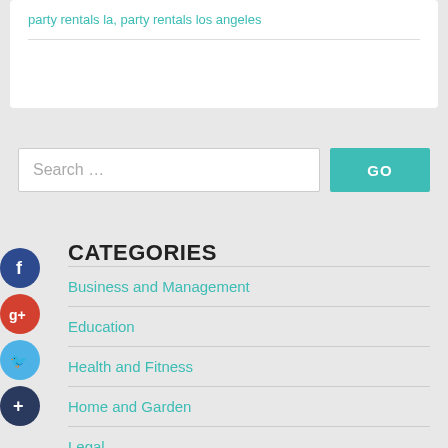party rentals la, party rentals los angeles
Search ...
GO
CATEGORIES
Business and Management
Education
Health and Fitness
Home and Garden
Legal